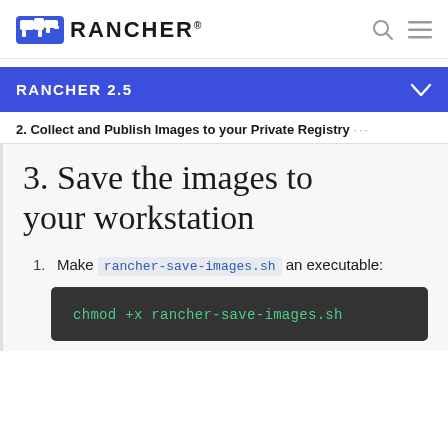RANCHER
RANCHER 2.5
2. Collect and Publish Images to your Private Registry ···
3. Save the images to your workstation
Make rancher-save-images.sh an executable:
chmod +x rancher-save-images.sh